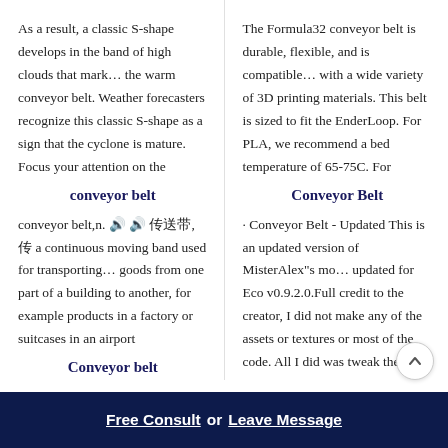As a result, a classic S-shape develops in the band of high clouds that mark… the warm conveyor belt. Weather forecasters recognize this classic S-shape as a sign that the cyclone is mature. Focus your attention on the
conveyor belt
The Formula32 conveyor belt is durable, flexible, and is compatible… with a wide variety of 3D printing materials. This belt is sized to fit the EnderLoop. For PLA, we recommend a bed temperature of 65-75C. For
Conveyor Belt
conveyor belt,n. 🔊 🔊 传送带,传 a continuous moving band used for transporting… goods from one part of a building to another, for example products in a factory or suitcases in an airport
Conveyor belt
· Conveyor Belt - Updated This is an updated version of MisterAlex"s mo… updated for Eco v0.9.2.0.Full credit to the creator, I did not make any of the assets or textures or most of the code. All I did was tweak the code and
Conveyor Belt Vulcanizer
Free Consult  or  Leave Message